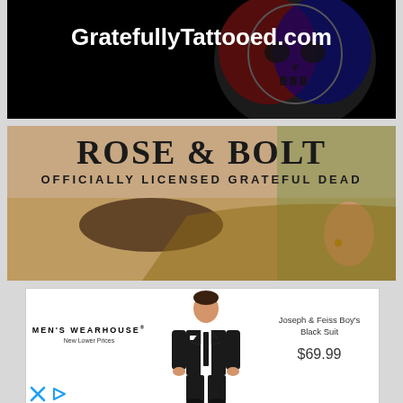[Figure (photo): GratefullyTattooed.com advertisement banner with dark background, skull graphic, and white text]
[Figure (photo): Rose & Bolt - Officially Licensed Grateful Dead advertisement banner showing close-up of woman's ear with earring]
[Figure (photo): Men's Wearhouse advertisement showing Joseph & Feiss Boy's Black Suit for $69.99 with image of boy in black suit]